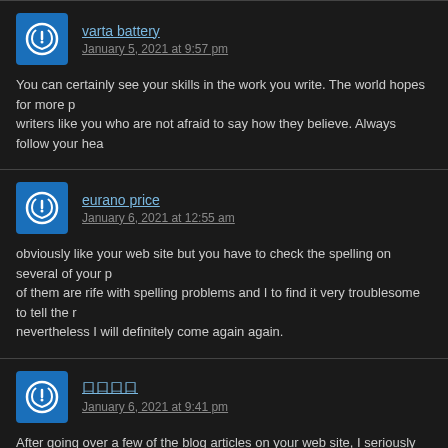varta battery — January 5, 2021 at 9:57 pm
You can certainly see your skills in the work you write. The world hopes for more passionate writers like you who are not afraid to say how they believe. Always follow your hea
eurano price — January 6, 2021 at 12:55 am
obviously like your web site but you have to check the spelling on several of your posts. A lot of them are rife with spelling problems and I to find it very troublesome to tell the reality nevertheless I will definitely come again again.
口口口口 — January 6, 2021 at 9:41 pm
After going over a few of the blog articles on your web site, I seriously like your way of blogging. I book marked it to my bookmark website list and will be checking back in the near future. Please check out my website as well and let me know your opinion.